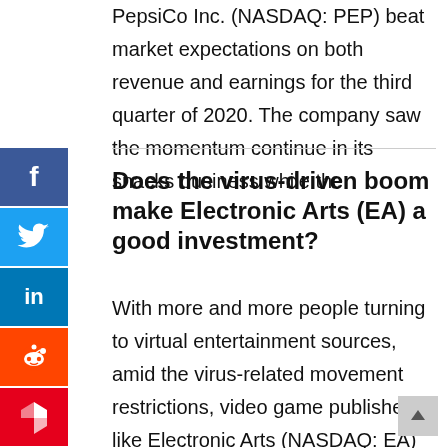PepsiCo Inc. (NASDAQ: PEP) beat market expectations on both revenue and earnings for the third quarter of 2020. The company saw the momentum continue in its snacks business while the
Does the virus-driven boom make Electronic Arts (EA) a good investment?
With more and more people turning to virtual entertainment sources, amid the virus-related movement restrictions, video game publishers like Electronic Arts (NASDAQ: EA) are witnessing unusually high demand. Not surprisingly,